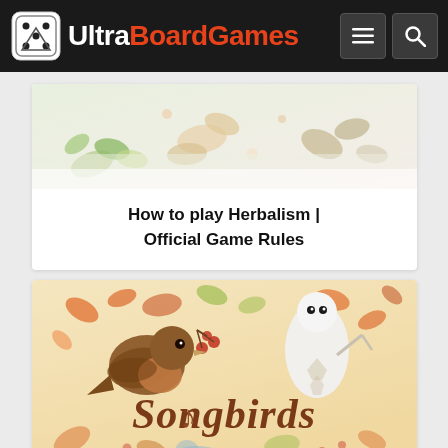UltraBoardGames
[Figure (screenshot): Herbalism board game cover image with illustrated herbs and plants on light background]
How to play Herbalism | Official Game Rules
[Figure (illustration): Songbirds board game cover art featuring birds and autumn leaves on cream/beige background with 'Songbirds' text]
How to play Songbirds |